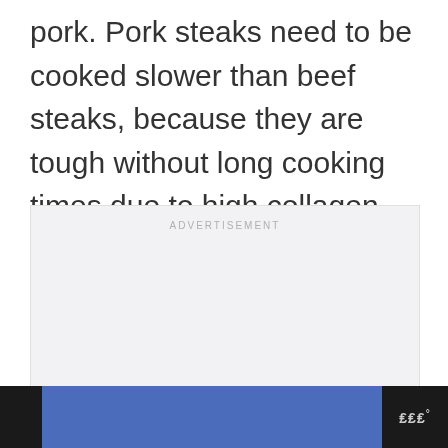pork. Pork steaks need to be cooked slower than beef steaks, because they are tough without long cooking times due to high collagen amount in meat.
[Figure (other): Advertisement placeholder box with light gray background and 'ADVERTISEMENT' label at top center]
Footer bar with blue box and logo mark